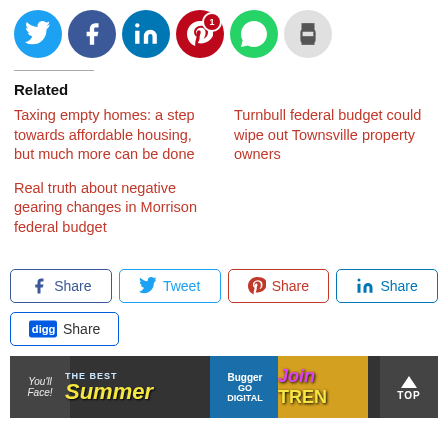[Figure (infographic): Social media share icon circles: Twitter (blue bird), Facebook (blue f), LinkedIn (blue in), Pinterest (red P with badge '1'), WhatsApp (green phone), Print (gray printer)]
Related
Taxing empty homes: a step towards affordable housing, but much more can be done
Turnbull federal budget could wipe out Townsville property owners
Real truth about negative gearing changes in Morrison federal budget
[Figure (infographic): Social share buttons row: Facebook Share, Twitter Tweet, Pinterest Share, LinkedIn Share, and Digg Share buttons]
[Figure (photo): Bottom advertising banner showing 'the best Summer', 'Bugger GO DIGITAL', 'Join TREN' and a 'TOP' scroll-to-top button]